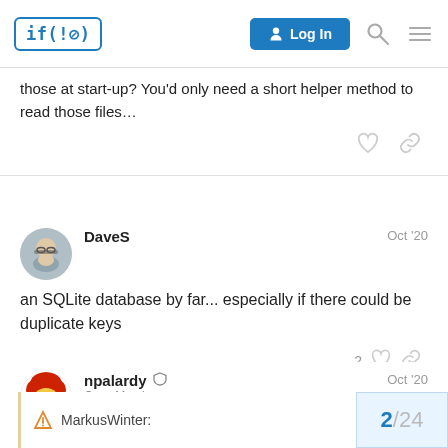if(!0) — Log In
those at start-up? You'd only need a short helper method to read those files…
DaveS  Oct '20
an SQLite database by far... especially if there could be duplicate keys
npalardy  Crew Member  Oct '20
MarkusWinter:
2 / 24